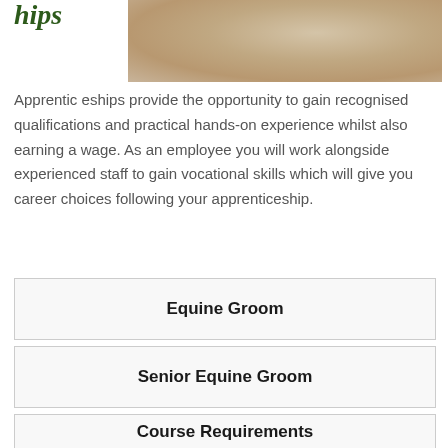hips
[Figure (photo): Tan/beige textured background photo, possibly hay or sand, partially cropped]
Apprenticeships provide the opportunity to gain recognised qualifications and practical hands-on experience whilst also earning a wage. As an employee you will work alongside experienced staff to gain vocational skills which will give you career choices following your apprenticeship.
Equine Groom
Senior Equine Groom
Course Requirements